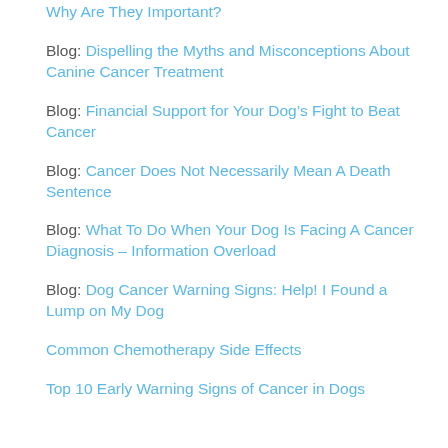Why Are They Important?
Blog: Dispelling the Myths and Misconceptions About Canine Cancer Treatment
Blog: Financial Support for Your Dog’s Fight to Beat Cancer
Blog: Cancer Does Not Necessarily Mean A Death Sentence
Blog: What To Do When Your Dog Is Facing A Cancer Diagnosis – Information Overload
Blog: Dog Cancer Warning Signs: Help! I Found a Lump on My Dog
Common Chemotherapy Side Effects
Top 10 Early Warning Signs of Cancer in Dogs